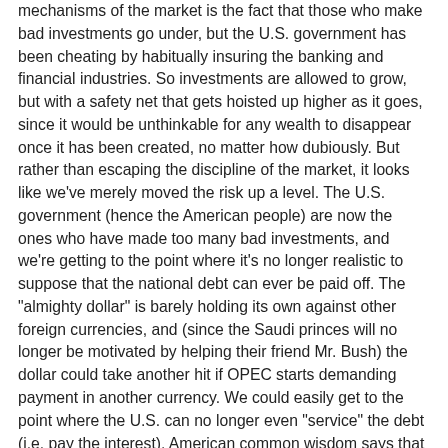mechanisms of the market is the fact that those who make bad investments go under, but the U.S. government has been cheating by habitually insuring the banking and financial industries. So investments are allowed to grow, but with a safety net that gets hoisted up higher as it goes, since it would be unthinkable for any wealth to disappear once it has been created, no matter how dubiously. But rather than escaping the discipline of the market, it looks like we've merely moved the risk up a level. The U.S. government (hence the American people) are now the ones who have made too many bad investments, and we're getting to the point where it's no longer realistic to suppose that the national debt can ever be paid off. The "almighty dollar" is barely holding its own against other foreign currencies, and (since the Saudi princes will no longer be motivated by helping their friend Mr. Bush) the dollar could take another hit if OPEC starts demanding payment in another currency. We could easily get to the point where the U.S. can no longer even "service" the debt (i.e. pay the interest). American common wisdom says that debt is not a problem because we can always grow the economy to dwarf it. I ask: grow it on what? More debt? Air? This is the economic strategy I like to call "patching Reagan's balloon" (a.k.a. "Voodoo